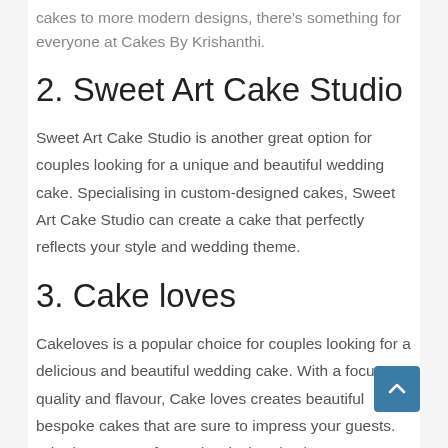cakes to more modern designs, there's something for everyone at Cakes By Krishanthi.
2. Sweet Art Cake Studio
Sweet Art Cake Studio is another great option for couples looking for a unique and beautiful wedding cake. Specialising in custom-designed cakes, Sweet Art Cake Studio can create a cake that perfectly reflects your style and wedding theme.
3. Cake loves
Cakeloves is a popular choice for couples looking for a delicious and beautiful wedding cake. With a focus on quality and flavour, Cake loves creates beautiful bespoke cakes that are sure to impress your guests. Whether you're after a classic tiered cake or something